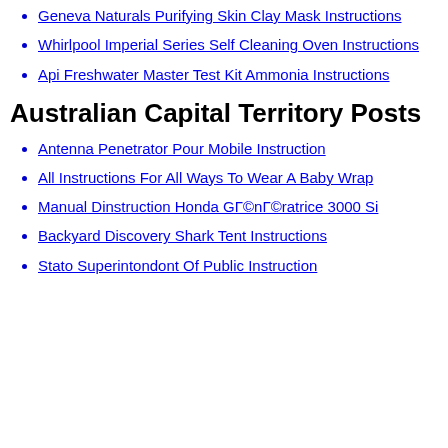Geneva Naturals Purifying Skin Clay Mask Instructions
Whirlpool Imperial Series Self Cleaning Oven Instructions
Api Freshwater Master Test Kit Ammonia Instructions
Australian Capital Territory Posts
Antenna Penetrator Pour Mobile Instruction
All Instructions For All Ways To Wear A Baby Wrap
Manual Dinstruction Honda GÃ©nÃ©ratrice 3000 Si
Backyard Discovery Shark Tent Instructions
State Superintendent Of Public Instruction